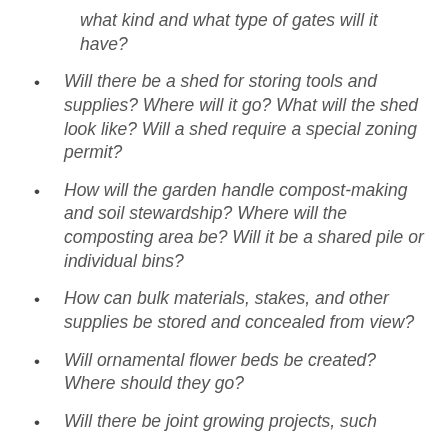what kind and what type of gates will it have?
Will there be a shed for storing tools and supplies? Where will it go? What will the shed look like? Will a shed require a special zoning permit?
How will the garden handle compost-making and soil stewardship? Where will the composting area be? Will it be a shared pile or individual bins?
How can bulk materials, stakes, and other supplies be stored and concealed from view?
Will ornamental flower beds be created? Where should they go?
Will there be joint growing projects, such